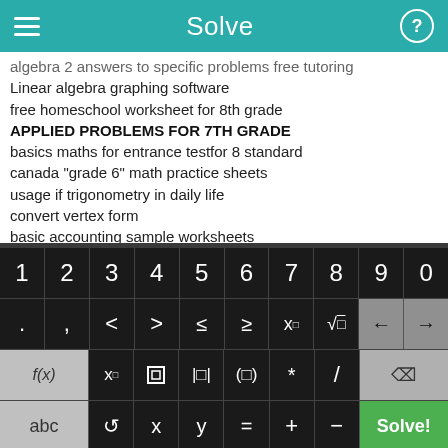Solve
algebra 2 answers to specific problems free tutoring
Linear algebra graphing software
free homeschool worksheet for 8th grade
APPLIED PROBLEMS FOR 7TH GRADE
basics maths for entrance testfor 8 standard
canada "grade 6" math practice sheets
usage if trigonometry in daily life
convert vertex form
basic accounting sample worksheets
aptitude questions pdf
free e-books for accounting
[Figure (screenshot): Mobile math keyboard with digits 1-9,0 on first row; symbols (. , < > ≤ ≥ x□ √□) with arrow keys on second row; f(x), x□, fraction, absolute value, parenthesis, * , / , backspace on third row; abc, undo, x, y, =, +, -, Solve! on fourth row]